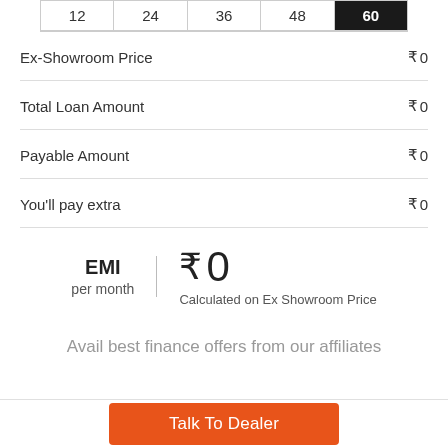| 12 | 24 | 36 | 48 | 60 |
| --- | --- | --- | --- | --- |
|  |  |
| --- | --- |
| Ex-Showroom Price | ₹ 0 |
| Total Loan Amount | ₹ 0 |
| Payable Amount | ₹ 0 |
| You'll pay extra | ₹ 0 |
EMI per month | ₹ 0 | Calculated on Ex Showroom Price
Avail best finance offers from our affiliates
Talk To Dealer